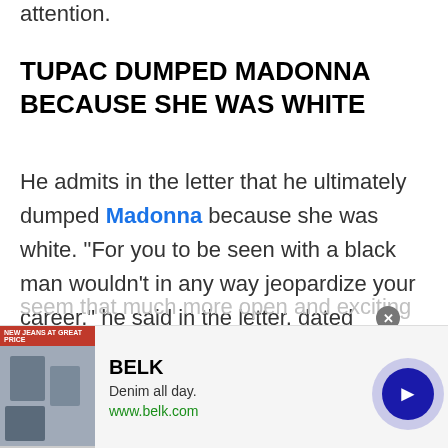attention.
TUPAC DUMPED MADONNA BECAUSE SHE WAS WHITE
He admits in the letter that he ultimately dumped Madonna because she was white. “For you to be seen with a black man wouldn’t in any way jeopardize your career,” he said in the letter, dated January 15, 1995. “If anything it would make you seem that much more open and exciting…
[Figure (screenshot): BELK advertisement banner showing denim clothing with tagline 'Denim all day.' and website www.belk.com, with a close button and video play button overlay]